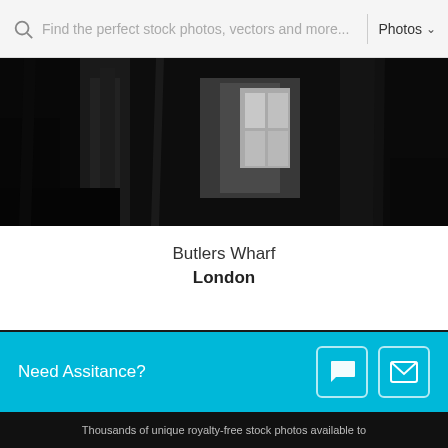[Figure (screenshot): Website search bar with placeholder text 'Find the perfect stock photos, vectors and more...' and a Photos dropdown]
[Figure (photo): Black and white photograph of Butlers Wharf, London — dark alleyway or urban scene]
Butlers Wharf
London
Support Independent Photographers
Buy credits or subscribe today.
[Figure (logo): Photofolia logo in white text on dark background with colorful camera-lens icon]
Need Assitance?
Thousands of unique royalty-free stock photos available to